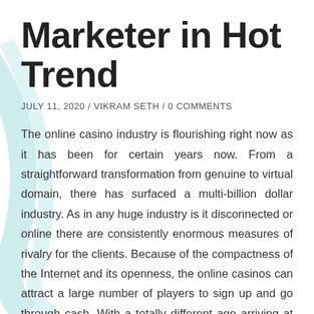Marketer in Hot Trend
JULY 11, 2020 / VIKRAM SETH / 0 COMMENTS
The online casino industry is flourishing right now as it has been for certain years now. From a straightforward transformation from genuine to virtual domain, there has surfaced a multi-billion dollar industry. As in any huge industry is it disconnected or online there are consistently enormous measures of rivalry for the clients. Because of the compactness of the Internet and its openness, the online casinos can attract a large number of players to sign up and go through cash. With a totally different age arriving at 18 regularly there is an endless likely market for the online casinos. Here and there individuals may mark them exploitative; however in truth they are really offering assistance something that plainly interests an incredible number of